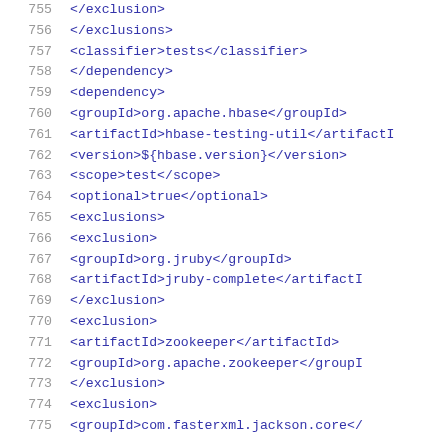Code listing lines 755-775, XML Maven POM dependency configuration
755    </exclusion>
756    </exclusions>
757    <classifier>tests</classifier>
758    </dependency>
759    <dependency>
760        <groupId>org.apache.hbase</groupId>
761        <artifactId>hbase-testing-util</artifactId>
762        <version>${hbase.version}</version>
763        <scope>test</scope>
764        <optional>true</optional>
765        <exclusions>
766            <exclusion>
767                <groupId>org.jruby</groupId>
768                <artifactId>jruby-complete</artifactId>
769            </exclusion>
770            <exclusion>
771                <artifactId>zookeeper</artifactId>
772                <groupId>org.apache.zookeeper</groupId>
773            </exclusion>
774            <exclusion>
775                <groupId>com.fasterxml.jackson.core</groupId>